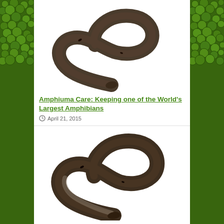[Figure (photo): Photo of an Amphiuma (large aquatic salamander) coiled in an S-shape on white background, dark brownish color with small vestigial limbs]
Amphiuma Care: Keeping one of the World's Largest Amphibians
April 21, 2015
[Figure (photo): Second photo of an Amphiuma (Two-Toed species) coiled similarly on white background, dark brown color with small limbs visible]
The Two Toed Amphiuma: a Giant